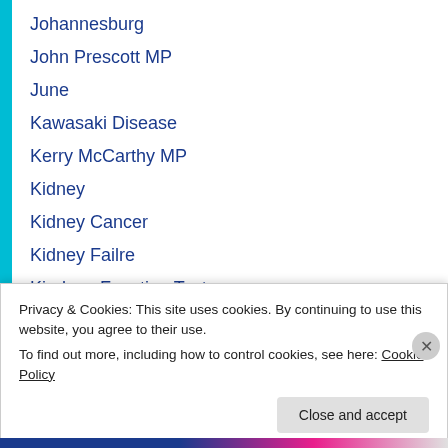Johannesburg
John Prescott MP
June
Kawasaki Disease
Kerry McCarthy MP
Kidney
Kidney Cancer
Kidney Failre
Kindney Function Test
Kirsty Williams
Labial Cancer
Lesley Griffiths (partial)
Privacy & Cookies: This site uses cookies. By continuing to use this website, you agree to their use. To find out more, including how to control cookies, see here: Cookie Policy
Close and accept